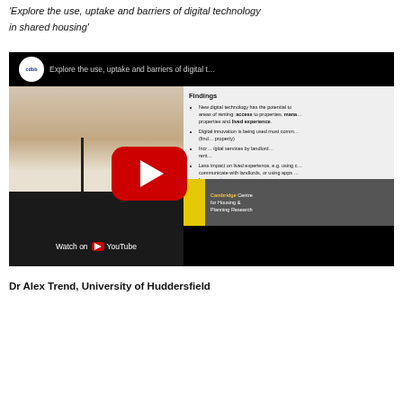'Explore the use, uptake and barriers of digital technology in shared housing'
[Figure (screenshot): YouTube video thumbnail showing a woman speaking at a podium (left half) and a presentation slide with 'Findings' heading and bullet points about digital technology in shared housing (right half). Features cdbb logo, YouTube play button, Cambridge Centre for Housing & Planning Research logo, and 'Watch on YouTube' bar.]
Dr Alex Trend, University of Huddersfield